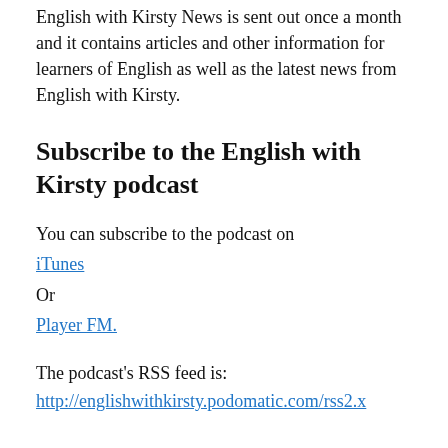English with Kirsty News is sent out once a month and it contains articles and other information for learners of English as well as the latest news from English with Kirsty.
Subscribe to the English with Kirsty podcast
You can subscribe to the podcast on
iTunes
Or
Player FM.
The podcast's RSS feed is:
http://englishwithkirsty.podomatic.com/rss2.x